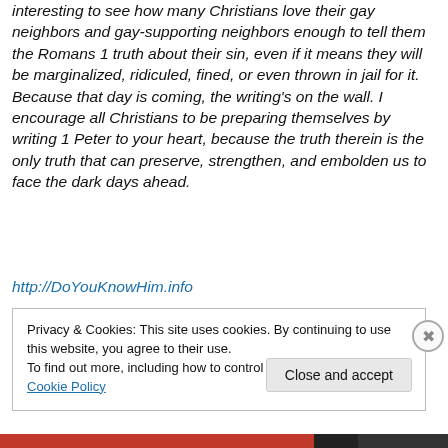interesting to see how many Christians love their gay neighbors and gay-supporting neighbors enough to tell them the Romans 1 truth about their sin, even if it means they will be marginalized, ridiculed, fined, or even thrown in jail for it. Because that day is coming, the writing's on the wall. I encourage all Christians to be preparing themselves by writing 1 Peter to your heart, because the truth therein is the only truth that can preserve, strengthen, and embolden us to face the dark days ahead.
http://DoYouKnowHim.info
Privacy & Cookies: This site uses cookies. By continuing to use this website, you agree to their use. To find out more, including how to control cookies, see here: Cookie Policy